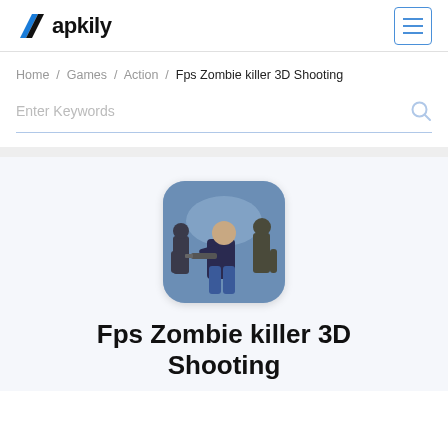Aapkily
Home / Games / Action / Fps Zombie killer 3D Shooting
Enter Keywords
[Figure (illustration): App icon showing a man holding a gun surrounded by zombies on a dark blue background with rounded square shape]
Fps Zombie killer 3D Shooting